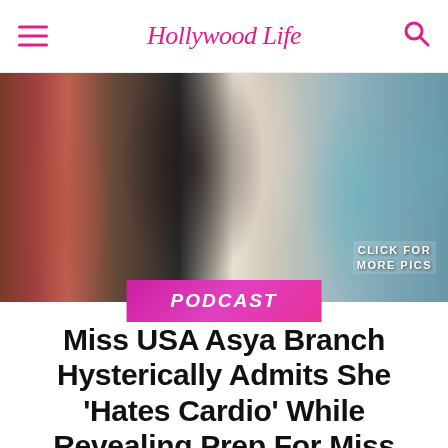Hollywood Life
[Figure (photo): Blurred photo of pageant contestants in formal wear at a beauty pageant event. Center figure wears black and white. Background shows blurred women in colorful gowns with sashes.]
CLICK FOR MORE PICS
PODCAST
Miss USA Asya Branch Hysterically Admits She ‘Hates Cardio’ While Revealing Prep For Miss Universe